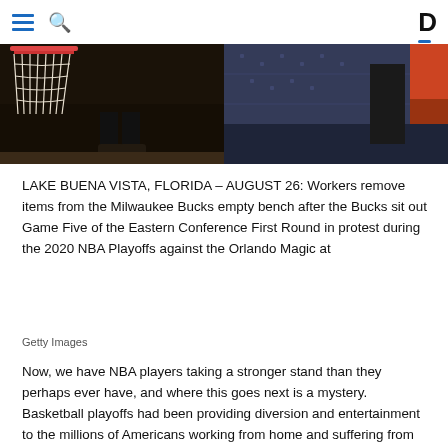[Navigation: hamburger menu, search icon, D logo]
[Figure (photo): Basketball court photo showing a basketball hoop/net on the left side and a dark arena seating/panel area on the right side, taken during an NBA game at Disney World bubble.]
LAKE BUENA VISTA, FLORIDA – AUGUST 26: Workers remove items from the Milwaukee Bucks empty bench after the Bucks sit out Game Five of the Eastern Conference First Round in protest during the 2020 NBA Playoffs against the Orlando Magic at
Getty Images
Now, we have NBA players taking a stronger stand than they perhaps ever have, and where this goes next is a mystery. Basketball playoffs had been providing diversion and entertainment to the millions of Americans working from home and suffering from cabin fever because of the COVID-19